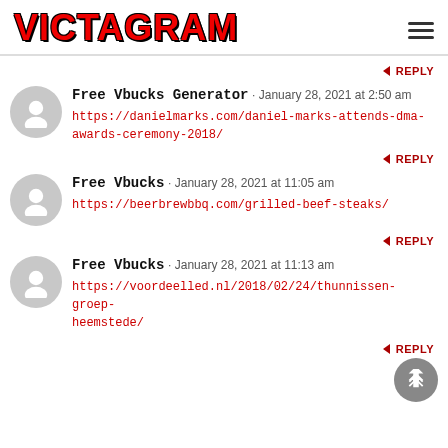VICTAGRAM
REPLY
Free Vbucks Generator · January 28, 2021 at 2:50 am
https://danielmarks.com/daniel-marks-attends-dma-awards-ceremony-2018/
REPLY
Free Vbucks · January 28, 2021 at 11:05 am
https://beerbrewbbq.com/grilled-beef-steaks/
REPLY
Free Vbucks · January 28, 2021 at 11:13 am
https://voordeelled.nl/2018/02/24/thunnissen-groep-heemstede/
REPLY